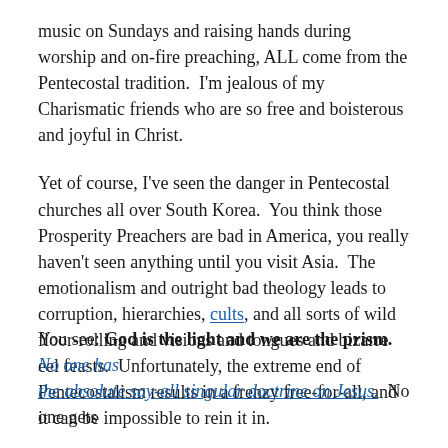music on Sundays and raising hands during worship and on-fire preaching, ALL come from the Pentecostal tradition.  I'm jealous of my Charismatic friends who are so free and boisterous and joyful in Christ.
Yet of course, I've seen the danger in Pentecostal churches all over South Korea.  You think those Prosperity Preachers are bad in America, you really haven't seen anything until you visit Asia.  The emotionalism and outright bad theology leads to corruption, hierarchies, cults, and all sorts of wild floor-rolling and visions and tongues and bizarre eel feasts.  Unfortunately, the extreme end of Pentecostalism results in a frenzy free-for-all, and it can be impossible to rein it in.
You see: God is the light and we are the prism.  No one has the absolute say-all singular doctrine on Jesus.  No one gets